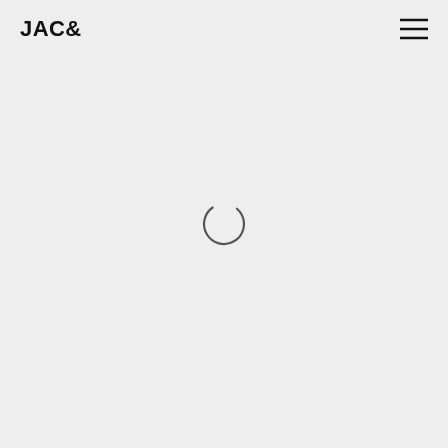JAC&
[Figure (other): Hamburger menu icon — three horizontal lines stacked]
[Figure (other): Loading spinner — partial circle arc indicating content is loading]